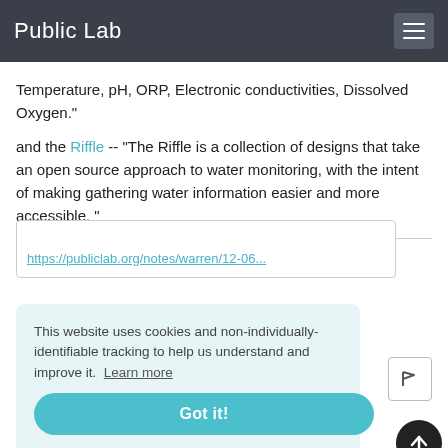Public Lab
Temperature, pH, ORP, Electronic conductivities, Dissolved Oxygen."
and the Riffle -- "The Riffle is a collection of designs that take an open source approach to water monitoring, with the intent of making gathering water information easier and more accessible. "
2 Comments
This website uses cookies and non-individually-identifiable tracking to help us understand and improve it. Learn more
Got it!
https://publiclab.org/notes/warren/12-06...